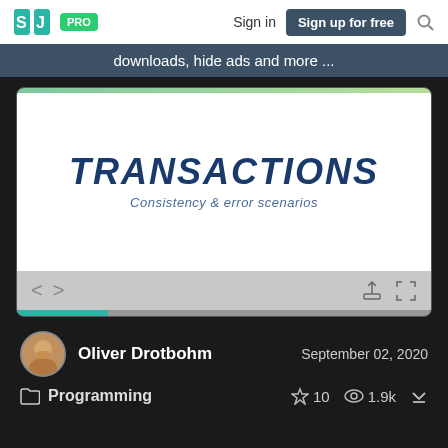SJ | PRO | Sign in | Sign up for free | Search
downloads, hide ads and more ...
[Figure (screenshot): Slide preview showing 'TRANSACTIONS — Consistency & error scenarios' presentation title slide with navigation controls and progress bar]
Oliver Drotbohm
September 02, 2020
Programming
10  1.9k